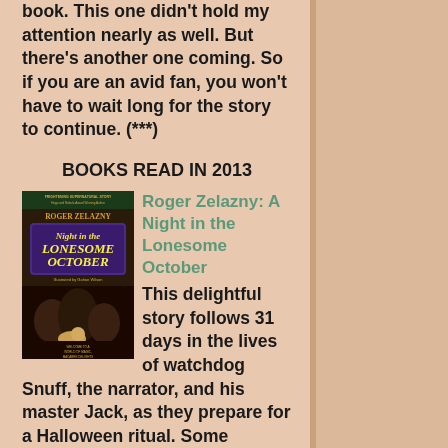book. This one didn't hold my attention nearly as well. But there's another one coming. So if you are an avid fan, you won't have to wait long for the story to continue. (***)
BOOKS READ IN 2013
[Figure (photo): Book cover of 'A Night in the Lonesome October' by Roger Zelazny, showing a Halloween-themed illustration with figures in Victorian dress]
Roger Zelazny: A Night in the Lonesome October
This delightful story follows 31 days in the lives of watchdog Snuff, the narrator, and his master Jack, as they prepare for a Halloween ritual. Some players want to bring Lovecraft's ancient gods of chaos back to earth; some want to banish them, at least until the next ritual. Discovering who is who and what is where are vital tasks. Zelazny freely borrows from Stoker, Shelly, Conan